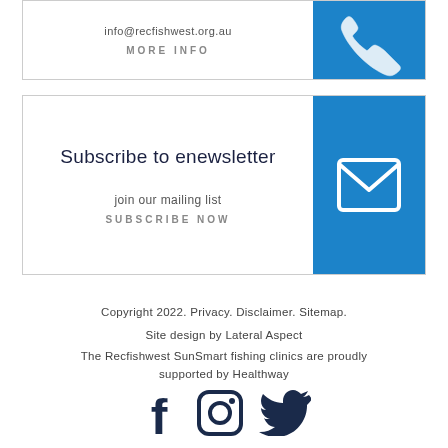info@recfishwest.org.au
MORE INFO
Subscribe to enewsletter
join our mailing list
SUBSCRIBE NOW
Copyright 2022. Privacy. Disclaimer. Sitemap.
Site design by Lateral Aspect
The Recfishwest SunSmart fishing clinics are proudly supported by Healthway
[Figure (illustration): Social media icons: Facebook, Instagram, Twitter]